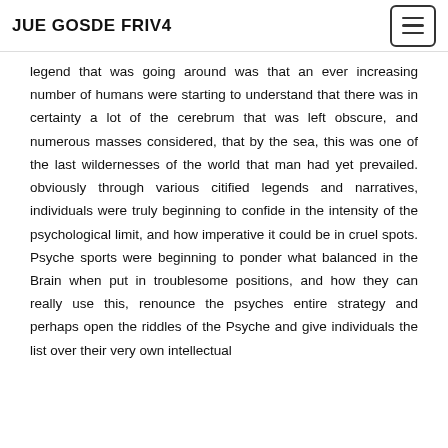JUE GOSDE FRIV4
legend that was going around was that an ever increasing number of humans were starting to understand that there was in certainty a lot of the cerebrum that was left obscure, and numerous masses considered, that by the sea, this was one of the last wildernesses of the world that man had yet prevailed. obviously through various citified legends and narratives, individuals were truly beginning to confide in the intensity of the psychological limit, and how imperative it could be in cruel spots. Psyche sports were beginning to ponder what balanced in the Brain when put in troublesome positions, and how they can really use this, renounce the psyches entire strategy and perhaps open the riddles of the Psyche and give individuals the list over their very own intellectual